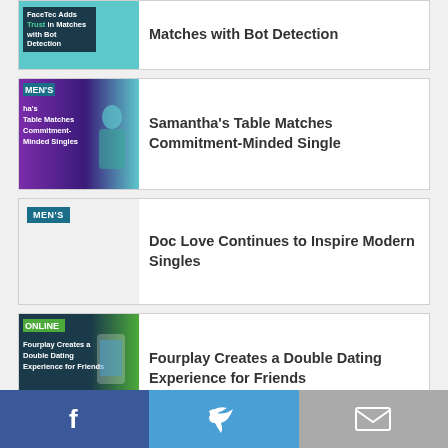[Figure (screenshot): Thumbnail for FaceTec bot detection article with teal background]
Matches with Bot Detection
[Figure (screenshot): Thumbnail for Samantha's Table article with purple/teal background and woman photo]
Samantha's Table Matches Commitment-Minded Single
[Figure (screenshot): Thumbnail with MEN'S tag on teal background]
Doc Love Continues to Inspire Modern Singles
[Figure (screenshot): Thumbnail for Fourplay article with dark and green background and phone graphic]
Fourplay Creates a Double Dating Experience for Friends
» BACK TO: WOMEN'S DATING
[Figure (infographic): Social sharing bar with Facebook, Twitter, and email icons]